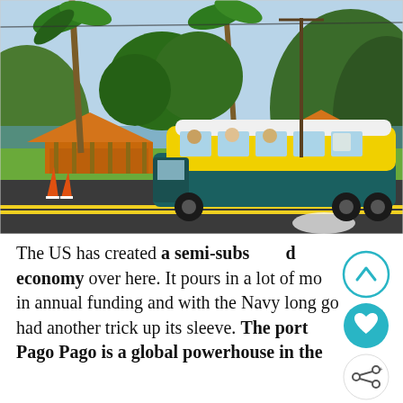[Figure (photo): A colorful yellow and blue bus on a road in American Samoa, with orange-roofed open-sided buildings, palm trees, green hills, and ocean in the background. Orange traffic cones visible on the left.]
The US has created a semi-subsidized economy over here. It pours in a lot of money in annual funding and with the Navy long gone had another trick up its sleeve. The port of Pago Pago is a global powerhouse in the